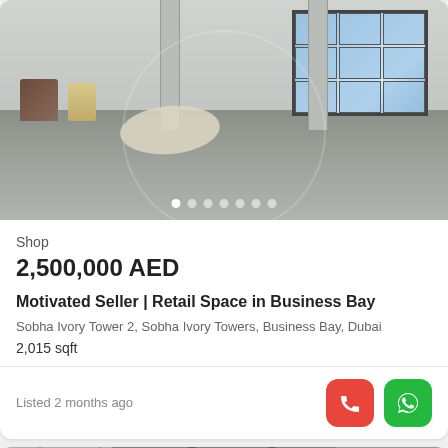[Figure (photo): Interior photo of an empty retail/warehouse space with concrete floors, white walls, large windows on the right, columns, and miscellaneous furniture (chair, bin) in the left corner. Image carousel with 7 navigation dots visible at bottom.]
Shop
2,500,000 AED
Motivated Seller | Retail Space in Business Bay
Sobha Ivory Tower 2, Sobha Ivory Towers, Business Bay, Dubai
2,015 sqft
Listed 2 months ago
[Figure (photo): Thumbnail of a second property listing showing an industrial/warehouse interior split into two panels. Overlaid with a SUPERAGENT badge, NEW LISTING badge, Map button, heart icon, and more options button.]